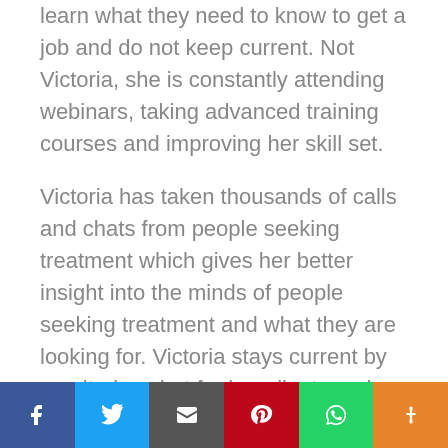what is new. Some many people in technology learn what they need to know to get a job and do not keep current. Not Victoria, she is constantly attending webinars, taking advanced training courses and improving her skill set.
Victoria has taken thousands of calls and chats from people seeking treatment which gives her better insight into the minds of people seeking treatment and what they are looking for. Victoria stays current by monitoring chat for her clients and talking to people seeking treatment on a regular basis.
The only downfall about Victoria is she only accepts a few clients at any given time. Her goal is to build a continuous stream of online...